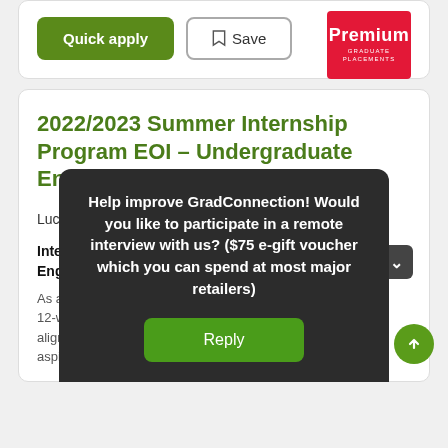[Figure (screenshot): Quick apply green button and Save outlined button in a white card]
[Figure (logo): Premium Graduate Placements red badge logo]
2022/2023 Summer Internship Program EOI – Undergraduate Engineers (Adelaide)
Lucid Consulting Australia
CLOSING IN 18 DAYS
Internships • Adelaide
Engineering
As an... 12-we... aligned... aspira...
Help improve GradConnection! Would you like to participate in a remote interview with us? ($75 e-gift voucher which you can spend at most major retailers)